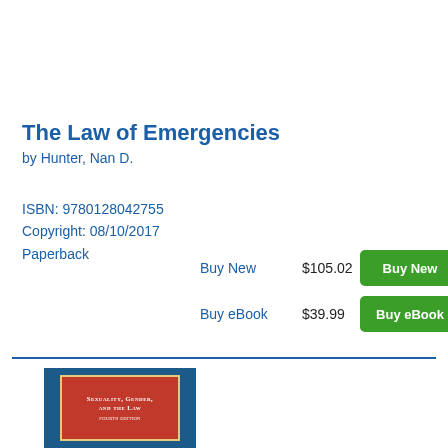The Law of Emergencies
by Hunter, Nan D.
ISBN: 9780128042755
Copyright: 08/10/2017
Paperback
| Action | Price | Button |
| --- | --- | --- |
| Buy New | $105.02 | Buy New |
| Buy eBook | $39.99 | Buy eBook |
[Figure (photo): Book cover of 'Sexuality, Gender, and the Law' — dark blue cover with red center panel, white text, decorative gold border, author name at bottom]